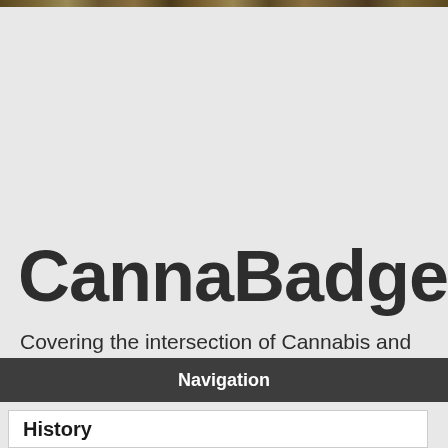[Figure (photo): Partial view of a nature/outdoor photograph strip at the top of the page]
CannaBadger.
Covering the intersection of Cannabis and Wisconsin
Navigation
History